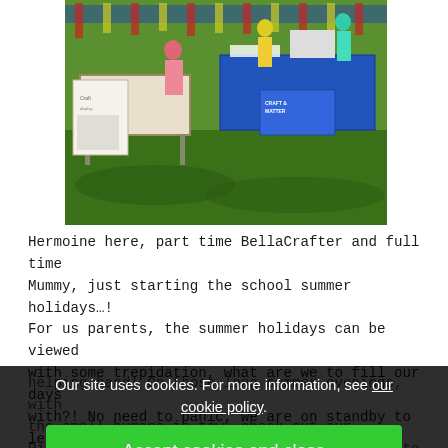[Figure (photo): Outdoor market or craft fair scene on green grass. On the left, a white table with a display board showing crafts. On the right, a blue table with signage and products. Two figures visible — one in pink/red on the left, one in yellow at center-back. Green fence or bunting visible in the background.]
Hermoine here, part time BellaCrafter and full time Mummy, just starting the school summer holidays…! For us parents, the summer holidays can be viewed with some trepidation, what are we to fill our days with?! No need to panic, we are on standby to lend a helping hand! On those long summer evenings, with the small humans in tow, check out our Pinterest board, full of crafty inspiration to keep minds a... https://.../summer-holidays-what-shall-we-do-today/
Our site uses cookies. For more information, see our cookie policy.
Accept cookies and close
Reject cookies
Manage settings
Summer seems to just lift everyone's spirit, it is the